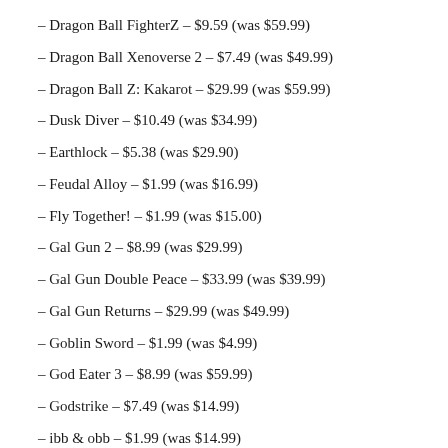– Dragon Ball FighterZ – $9.59 (was $59.99)
– Dragon Ball Xenoverse 2 – $7.49 (was $49.99)
– Dragon Ball Z: Kakarot – $29.99 (was $59.99)
– Dusk Diver – $10.49 (was $34.99)
– Earthlock – $5.38 (was $29.90)
– Feudal Alloy – $1.99 (was $16.99)
– Fly Together! – $1.99 (was $15.00)
– Gal Gun 2 – $8.99 (was $29.99)
– Gal Gun Double Peace – $33.99 (was $39.99)
– Gal Gun Returns – $29.99 (was $49.99)
– Goblin Sword – $1.99 (was $4.99)
– God Eater 3 – $8.99 (was $59.99)
– Godstrike – $7.49 (was $14.99)
– ibb & obb – $1.99 (was $14.99)